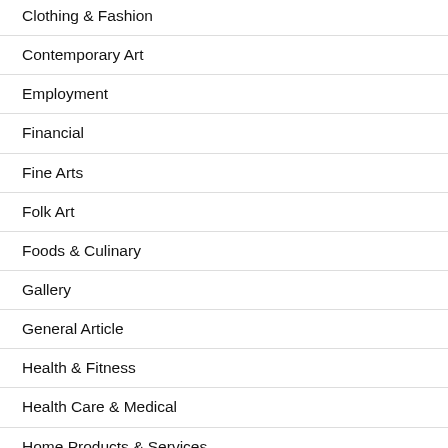Clothing & Fashion
Contemporary Art
Employment
Financial
Fine Arts
Folk Art
Foods & Culinary
Gallery
General Article
Health & Fitness
Health Care & Medical
Home Products & Services
Internet Services
Modern Art